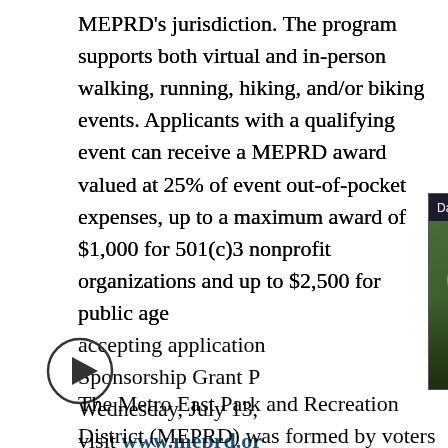MEPRD's jurisdiction. The program supports both virtual and in-person walking, running, hiking, and/or biking events. Applicants with a qualifying event can receive a MEPRD award valued at 25% of event out-of-pocket expenses, up to a maximum award of $1,000 for 501(c)3 nonprofit organizations and up to $2,500 for public age[ncies. Currently accepting application[s for the] Sponsorship Grant P[rogram through] Wednesday, July 13, [2022. For more info] visit www.meprd.or[g]
[Figure (screenshot): Video overlay popup showing 'Dales: Bears WR David Moore carted off...' with a video thumbnail of people with microphones on a football field, with a mute button visible]
[Figure (other): Play button circle icon]
The Metro East Park and Recreation District (MEPRD) was formed by voters of Madison and St.